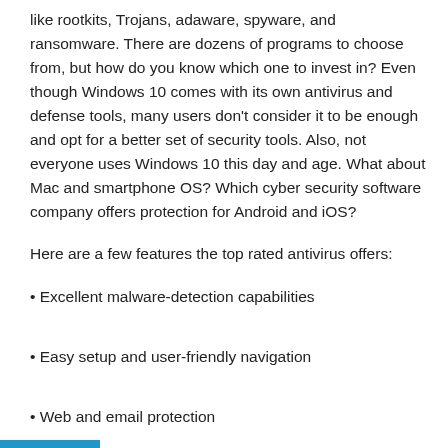like rootkits, Trojans, adaware, spyware, and ransomware. There are dozens of programs to choose from, but how do you know which one to invest in? Even though Windows 10 comes with its own antivirus and defense tools, many users don’t consider it to be enough and opt for a better set of security tools. Also, not everyone uses Windows 10 this day and age. What about Mac and smartphone OS? Which cyber security software company offers protection for Android and iOS?
Here are a few features the top rated antivirus offers:
• Excellent malware-detection capabilities
• Easy setup and user-friendly navigation
• Web and email protection